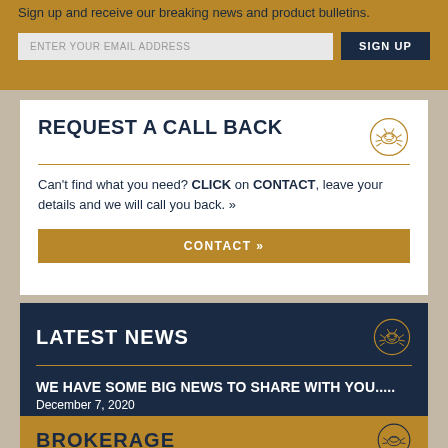Sign up and receive our breaking news and product bulletins.
ENTER YOUR EMAIL ADDRESS
SIGN UP
REQUEST A CALL BACK
Can't find what you need? CLICK on CONTACT, leave your details and we will call you back. »
CONTACT »
LATEST NEWS
WE HAVE SOME BIG NEWS TO SHARE WITH YOU.....
December 7, 2020
Read more »
SHRIMPER 21 ON EPIC JOURNEY
September 11, 2019
Read more »
BROKERAGE